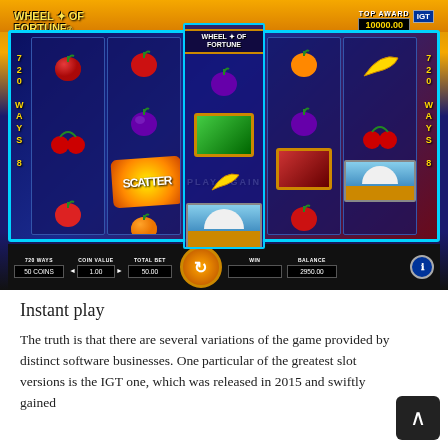[Figure (screenshot): Wheel of Fortune Triple Extreme Spin slot machine game screenshot by IGT showing 5 reels with fruit symbols (apples, cherries, plums, oranges, bananas), gem/wild symbols, scatter symbol, and a cruise ship bonus symbol. Top award shows 10000.00. Game controls show 720 WAYS, 50 COINS, COIN VALUE 1.00, TOTAL BET 50.00, BALANCE 2950.00, WIN field empty. Spin button visible. PLAY AGAIN text shown.]
Instant play
The truth is that there are several variations of the game provided by distinct software businesses. One particular of the greatest slot versions is the IGT one, which was released in 2015 and swiftly gained...